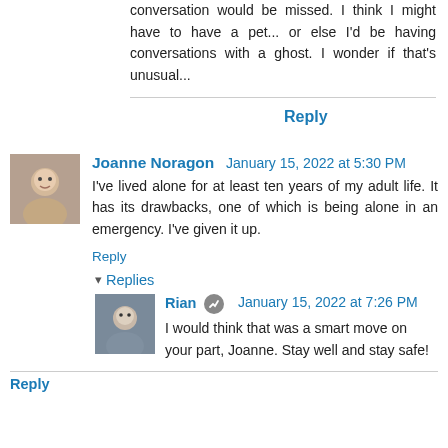conversation would be missed. I think I might have to have a pet... or else I'd be having conversations with a ghost. I wonder if that's unusual...
Reply
Joanne Noragon  January 15, 2022 at 5:30 PM
I've lived alone for at least ten years of my adult life. It has its drawbacks, one of which is being alone in an emergency. I've given it up.
Reply
▾ Replies
Rian  January 15, 2022 at 7:26 PM
I would think that was a smart move on your part, Joanne. Stay well and stay safe!
Reply